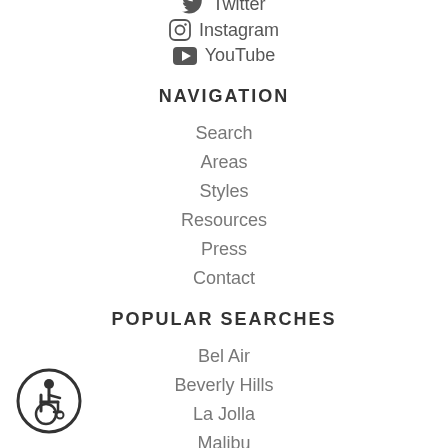Twitter
Instagram
YouTube
NAVIGATION
Search
Areas
Styles
Resources
Press
Contact
POPULAR SEARCHES
Bel Air
Beverly Hills
La Jolla
Malibu
Newport Beach